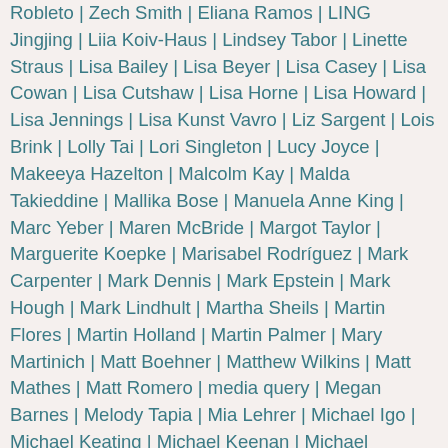Robleto | Zech Smith | Eliana Ramos | LING Jingjing | Liia Koiv-Haus | Lindsey Tabor | Linette Straus | Lisa Bailey | Lisa Beyer | Lisa Casey | Lisa Cowan | Lisa Cutshaw | Lisa Horne | Lisa Howard | Lisa Jennings | Lisa Kunst Vavro | Liz Sargent | Lois Brink | Lolly Tai | Lori Singleton | Lucy Joyce | Makeeya Hazelton | Malcolm Kay | Malda Takieddine | Mallika Bose | Manuela Anne King | Marc Yeber | Maren McBride | Margot Taylor | Marguerite Koepke | Marisabel Rodríguez | Mark Carpenter | Mark Dennis | Mark Epstein | Mark Hough | Mark Lindhult | Martha Sheils | Martin Flores | Martin Holland | Martin Palmer | Mary Martinich | Matt Boehner | Matthew Wilkins | Matt Mathes | Matt Romero | media query | Megan Barnes | Melody Tapia | Mia Lehrer | Michael Igo | Michael Keating | Michael Keenan | Michael Ledbetter | Michael Murphy | Michael Plansky | Michael Roth | Michael Stanley | Michael Weir | Michael Young | Michele Richmond | Michelle Lin-Luse | Miguel Vazquez | Mike Fox | Mike Hill | Mikyoung Kim | Ming-Jen Hsueh | Missy Benson | Mo Fei | Nancy Wicks | Naomi Heller |